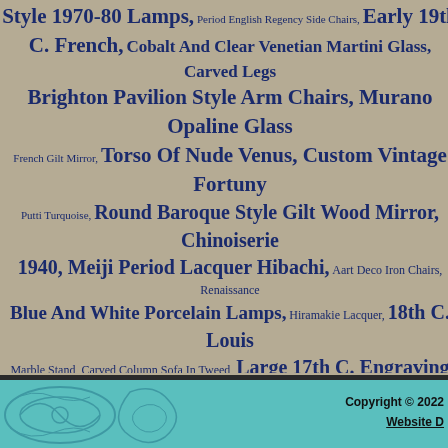Style 1970-80 Lamps, Period English Regency Side Chairs, Early 19th C. French, Cobalt And Clear Venetian Martini Glass, Carved Legs Brighton Pavilion Style Arm Chairs, Murano Opaline Glass French Gilt Mirror, Torso Of Nude Venus, Custom Vintage Fortuny Putti Turquoise, Round Baroque Style Gilt Wood Mirror, Chinoiserie 1940, Meiji Period Lacquer Hibachi, Aart Deco Iron Chairs, Renaissance Blue And White Porcelain Lamps, Hiramakie Lacquer, 18th C. Louis Marble Stand, Carved Column Sofa In Tweed, Large 17th C. Engraving Hoi Lebadang Signed Abstract Lithograph, Mid-19th C., Pair Mid-20th C. Mounted Horn Sconces, Modernist Sterling Candelabra, Chinese Export Figural Busts In Alabaster And Marble, Gorgeous Hollywood Regency Vintage Mid-20th C. Halliburton Train Case, Heywood-wakfield Quartetto Nesting Tables, Large Marbro Lamp, C. 1730-1760, Early 20th C. Seahorse American Art Pottery Lams, Terra Cotta Lion Sculpture, Large Lamps, Early 20th C. Faux Marble Urns, Large Partners Desk Carved Walnut Footstool In Leopard Velvet, Black Lacque
Copyright © 2022 Website D